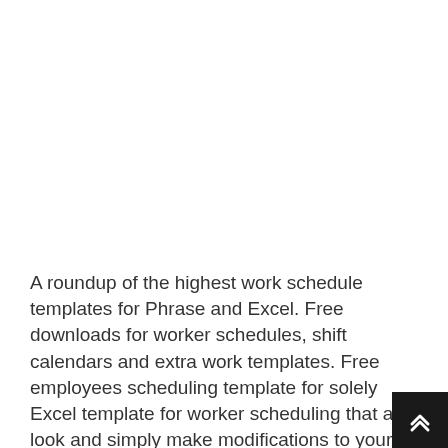A roundup of the highest work schedule templates for Phrase and Excel. Free downloads for worker schedules, shift calendars and extra work templates. Free employees scheduling template for solely Excel template for worker scheduling that at a look and simply make modifications to your worker's work schedule. Templates: Schedules: Enterprise journey